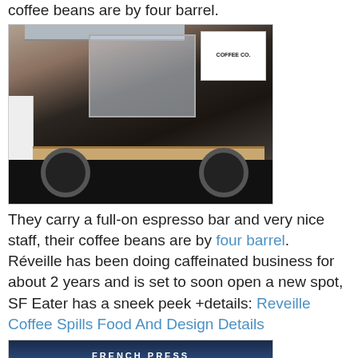coffee beans are by four barrel.
[Figure (photo): A coffee truck / mobile espresso bar with a dark exterior, a wooden counter, canopy overhead, and a barista visible. A white sign reads 'COFFEE CO.' Cups are lined up on the counter.]
They carry a full-on espresso bar and very nice staff, their coffee beans are by four barrel. Réveille has been doing caffeinated business for about 2 years and is set to soon open a new spot, SF Eater has a sneek peek +details: Reveille Coffee Spills Food And Design Details
[Figure (photo): A blue-tinted photo of a French Press coffee setup with menu cards on a table. Text reads 'FRENCH PRESS' and 'Guatemala Antigua Cruza'.]